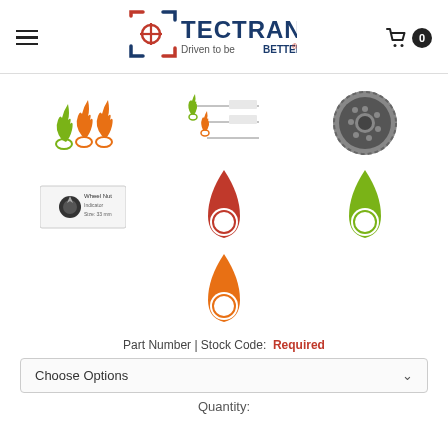Tectran – Driven to be BETTER
[Figure (photo): Tectran logo with red and blue icon and tagline 'Driven to be BETTER']
[Figure (photo): Product thumbnail grid: three flame/indicator icons (green and orange), wheel nut indicator diagram, red teardrop indicator, orange teardrop indicator, green teardrop indicator, truck wheel photo]
Part Number | Stock Code: Required
Choose Options
Quantity: